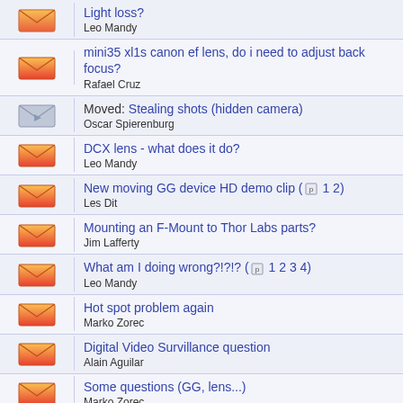Light loss? — Leo Mandy
mini35 xl1s canon ef lens, do i need to adjust back focus? — Rafael Cruz
Moved: Stealing shots (hidden camera) — Oscar Spierenburg
DCX lens - what does it do? — Leo Mandy
New moving GG device HD demo clip ( 1 2) — Les Dit
Mounting an F-Mount to Thor Labs parts? — Jim Lafferty
What am I doing wrong?!?!? ( 1 2 3 4) — Leo Mandy
Hot spot problem again — Marko Zorec
Digital Video Survillance question — Alain Aguilar
Some questions (GG, lens...) — Marko Zorec
Is there are list of 35mm adapter websites? — Aaron Koolen
Project boxes? Where to get?